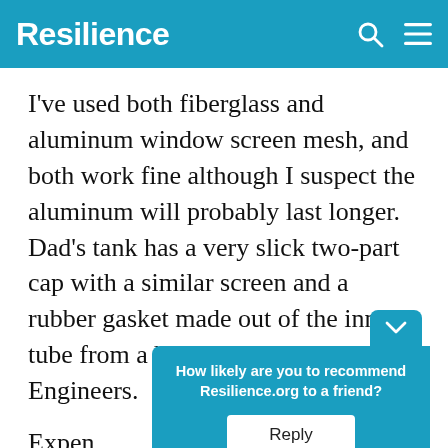Resilience
I've used both fiberglass and aluminum window screen mesh, and both work fine although I suspect the aluminum will probably last longer. Dad's tank has a very slick two-part cap with a similar screen and a rubber gasket made out of the inner tube from a blown bike tire. Engineers.
Expen[se depends] on what [you use and h]ow far I need [to carry] it
[Figure (infographic): A popup survey widget with teal/blue background asking 'How likely are you to recommend Resilience.org to a friend?' with a Reply button.]